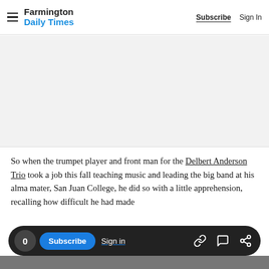Farmington Daily Times — Subscribe | Sign In
[Figure (other): Advertisement placeholder area, light gray background]
So when the trumpet player and front man for the Delbert Anderson Trio took a job this fall teaching music and leading the big band at his alma mater, San Juan College, he did so with a little apprehension, recalling how difficult he had made it for…
0 Subscribe Sign in [link icon] [comment icon] [share icon]